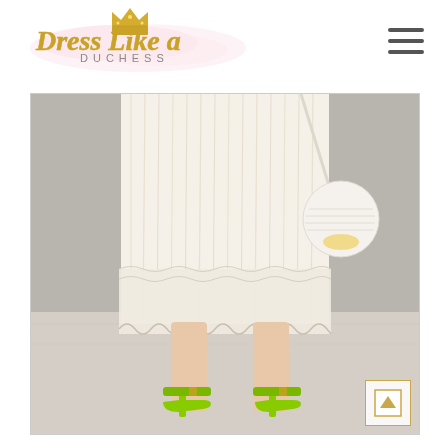[Figure (logo): Dress Like a Duchess blog logo with gold crown icon and script/serif text on pink watercolor splash background]
[Figure (photo): Fashion photo showing lower body of woman wearing white/cream pleated lace-hem midi skirt, bright lime green pointed-toe ankle-strap heels, and carrying a white round structured crossbody bag with yellow accent. Background is grey concrete wall and light wood floor.]